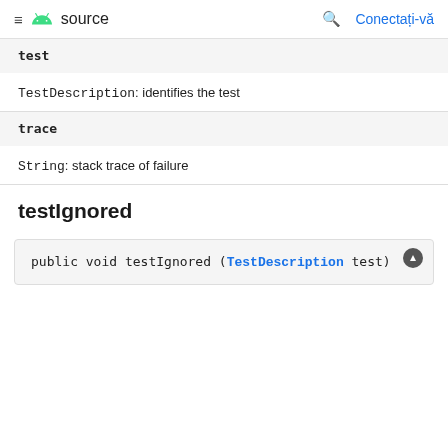≡ source  🔍 Conectați-vă
test
TestDescription: identifies the test
trace
String: stack trace of failure
testIgnored
public void testIgnored (TestDescription test)